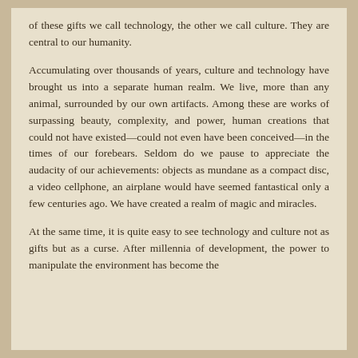of these gifts we call technology, the other we call culture. They are central to our humanity.
Accumulating over thousands of years, culture and technology have brought us into a separate human realm. We live, more than any animal, surrounded by our own artifacts. Among these are works of surpassing beauty, complexity, and power, human creations that could not have existed—could not even have been conceived—in the times of our forebears. Seldom do we pause to appreciate the audacity of our achievements: objects as mundane as a compact disc, a video cellphone, an airplane would have seemed fantastical only a few centuries ago. We have created a realm of magic and miracles.
At the same time, it is quite easy to see technology and culture not as gifts but as a curse. After millennia of development, the power to manipulate the environment has become the